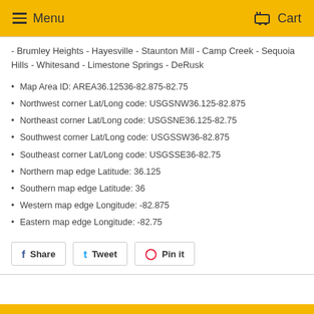Menu   Cart
- Brumley Heights - Hayesville - Staunton Mill - Camp Creek - Sequoia Hills - Whitesand - Limestone Springs - DeRusk
Map Area ID: AREA36.12536-82.875-82.75
Northwest corner Lat/Long code: USGSNW36.125-82.875
Northeast corner Lat/Long code: USGSNE36.125-82.75
Southwest corner Lat/Long code: USGSSW36-82.875
Southeast corner Lat/Long code: USGSSE36-82.75
Northern map edge Latitude: 36.125
Southern map edge Latitude: 36
Western map edge Longitude: -82.875
Eastern map edge Longitude: -82.75
Share   Tweet   Pin it